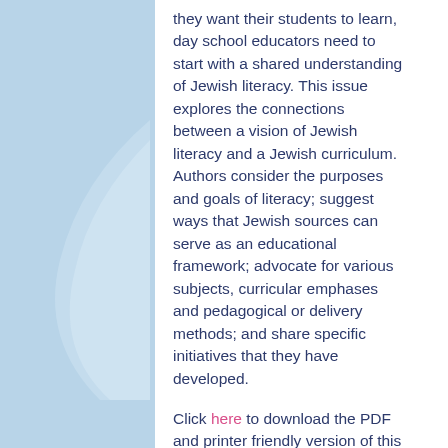they want their students to learn, day school educators need to start with a shared understanding of Jewish literacy. This issue explores the connections between a vision of Jewish literacy and a Jewish curriculum. Authors consider the purposes and goals of literacy; suggest ways that Jewish sources can serve as an educational framework; advocate for various subjects, curricular emphases and pedagogical or delivery methods; and share specific initiatives that they have developed.
Click here to download the PDF and printer friendly version of this issue of HaYidion.